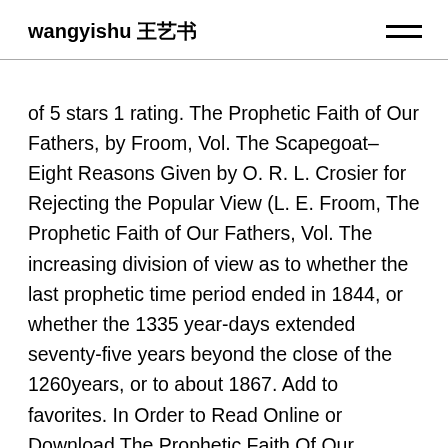wangyishu 王艺书
of 5 stars 1 rating. The Prophetic Faith of Our Fathers, by Froom, Vol. The Scapegoat–Eight Reasons Given by O. R. L. Crosier for Rejecting the Popular View (L. E. Froom, The Prophetic Faith of Our Fathers, Vol. The increasing division of view as to whether the last prophetic time period ended in 1844, or whether the 1335 year-days extended seventy-five years beyond the close of the 1260years, or to about 1867. Add to favorites. In Order to Read Online or Download The Prophetic Faith Of Our Fathers New World Recovery And Consummation Of Prophetic